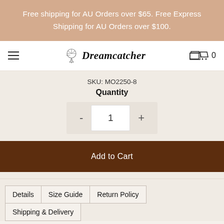Free shipping for AU Orders over $65. Free Express Shipping for AU Orders over $100.
[Figure (logo): Dreamcatcher brand logo with dreamcatcher icon and cursive text]
SKU: MO2250-8
Quantity
- 1 +
Add to Cart
Details
Size Guide
Return Policy
Shipping & Delivery
Brand: Dreamcatcher